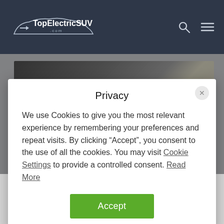TopElectricSUV.com
[Figure (screenshot): Article background image showing a car/vehicle exterior scene]
Privacy
We use Cookies to give you the most relevant experience by remembering your preferences and repeat visits. By clicking “Accept”, you consent to the use of all the cookies. You may visit Cookie Settings to provide a controlled consent. Read More
Accept
Home » News » Kia » 2023 Kia Sorento PHEV: Here’s what to expect